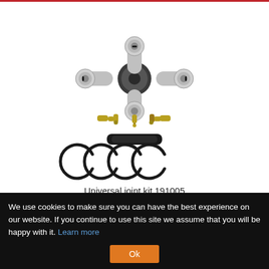[Figure (photo): Universal joint kit product photo showing cross-type universal joint with four bearing caps, two grease fittings (angled and straight), a rubber boot/sleeve, and four C-clip retaining rings laid out on white background]
Universal joint kit 191005
24.60 EUR
incl. 19 % Tax
We use cookies to make sure you can have the best experience on our website. If you continue to use this site we assume that you will be happy with it. Learn more
Ok